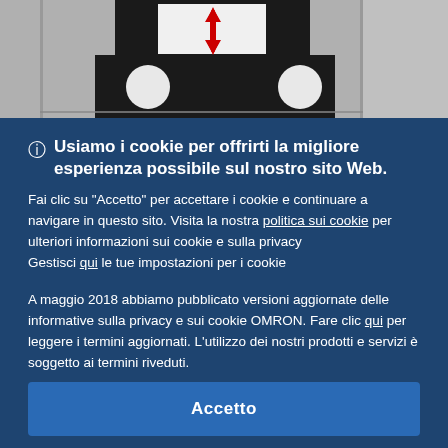[Figure (engineering-diagram): Technical diagram showing a black mechanical component (sensor or actuator) with a red double-headed arrow indicating vertical movement, mounted on a grey background. White circular elements visible on the base of the component.]
Usiamo i cookie per offrirti la migliore esperienza possibile sul nostro sito Web.
Fai clic su "Accetto" per accettare i cookie e continuare a navigare in questo sito. Visita la nostra politica sui cookie per ulteriori informazioni sui cookie e sulla privacy
Gestisci qui le tue impostazioni per i cookie
A maggio 2018 abbiamo pubblicato versioni aggiornate delle informative sulla privacy e sui cookie OMRON. Fare clic qui per leggere i termini aggiornati. L'utilizzo dei nostri prodotti e servizi è soggetto ai termini riveduti.
Accetto